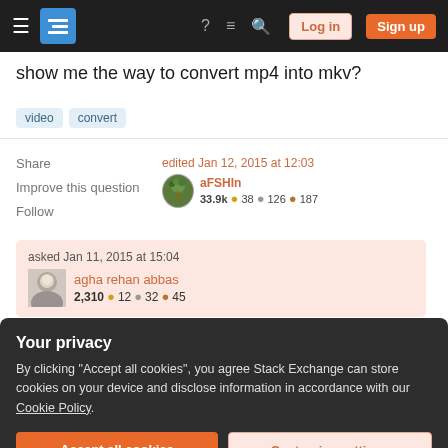Stack Exchange navigation bar with Log in and Sign up buttons
show me the way to convert mp4 into mkv?
video
convert
Share
Improve this question
Follow
edited Jan 12, 2015 at 12:03
aFSHIn
33.9k • 38 • 126 • 187
asked Jan 11, 2015 at 15:04
agha rehan abbas
2,310 • 12 • 32 • 45
Your privacy
By clicking "Accept all cookies", you agree Stack Exchange can store cookies on your device and disclose information in accordance with our Cookie Policy.
Accept all cookies
Customize settings
that instant, so I think it would do the job